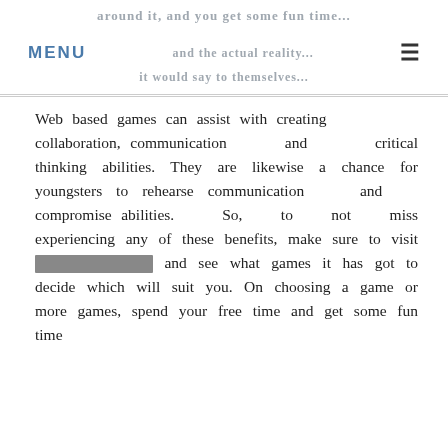MENU ☰
Web based games can assist with creating collaboration, communication and critical thinking abilities. They are likewise a chance for youngsters to rehearse communication and compromise abilities. So, to not miss experiencing any of these benefits, make sure to visit [REDACTED] and see what games it has got to decide which will suit you. On choosing a game or more games, spend your free time and get some fun time